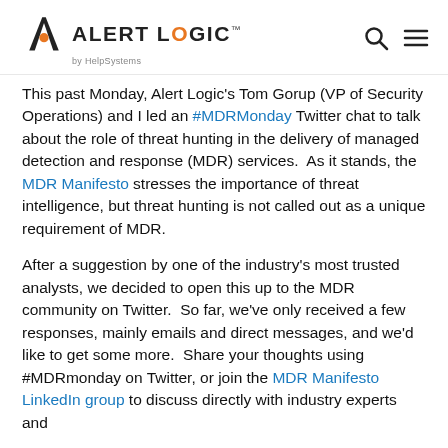Alert Logic by HelpSystems
This past Monday, Alert Logic's Tom Gorup (VP of Security Operations) and I led an #MDRMonday Twitter chat to talk about the role of threat hunting in the delivery of managed detection and response (MDR) services.  As it stands, the MDR Manifesto stresses the importance of threat intelligence, but threat hunting is not called out as a unique requirement of MDR.
After a suggestion by one of the industry's most trusted analysts, we decided to open this up to the MDR community on Twitter.  So far, we've only received a few responses, mainly emails and direct messages, and we'd like to get some more.  Share your thoughts using #MDRmonday on Twitter, or join the MDR Manifesto LinkedIn group to discuss directly with industry experts and